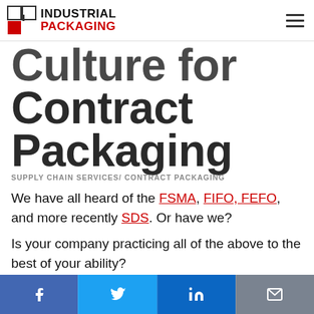Industrial Packaging
Culture for Contract Packaging
SUPPLY CHAIN SERVICES/ CONTRACT PACKAGING
We have all heard of the FSMA, FIFO, FEFO, and more recently SDS. Or have we?
Is your company practicing all of the above to the best of your ability?
Are you in compliance with federal and state regulations? Or...
[Figure (other): Social share bar with Facebook, Twitter, LinkedIn, and email icons]